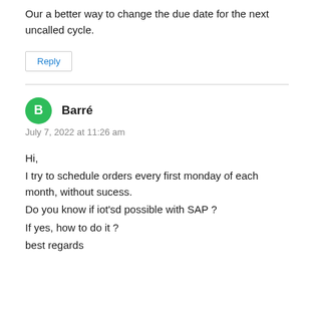Our a better way to change the due date for the next uncalled cycle.
Reply
Barré
July 7, 2022 at 11:26 am
Hi,
I try to schedule orders every first monday of each month, without sucess.
Do you know if iot'sd possible with SAP ?
If yes, how to do it ?
best regards